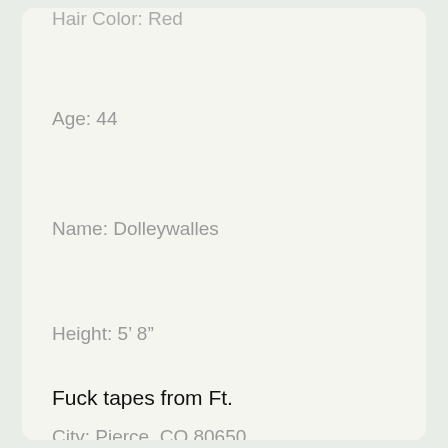Hair Color: Red
Age: 44
Name: Dolleywalles
Height: 5' 8"
City: Pierce, CO 80650
[Figure (illustration): Red heart emoji]
Fuck tapes from Ft.